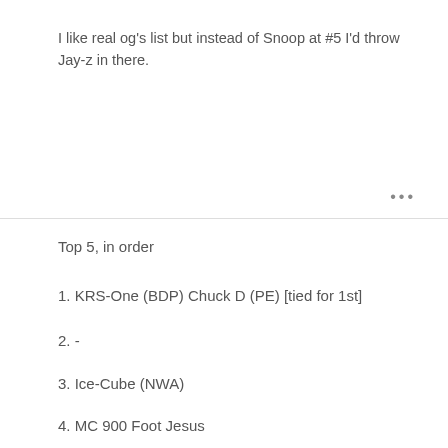I like real og's list but instead of Snoop at #5 I'd throw Jay-z in there.
Top 5, in order
1. KRS-One (BDP) Chuck D (PE) [tied for 1st]
2. -
3. Ice-Cube (NWA)
4. MC 900 Foot Jesus
5. Kool Keith (UMC's)